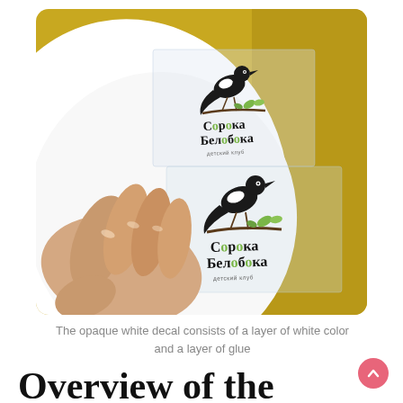[Figure (photo): A hand holding a transparent decal sheet with two copies of the Soroka Beloboka (magpie children's club) logo — a black magpie bird on a branch with green leaves and handwritten-style Cyrillic text, against a yellow/gold background.]
The opaque white decal consists of a layer of white color and a layer of glue
Overview of the